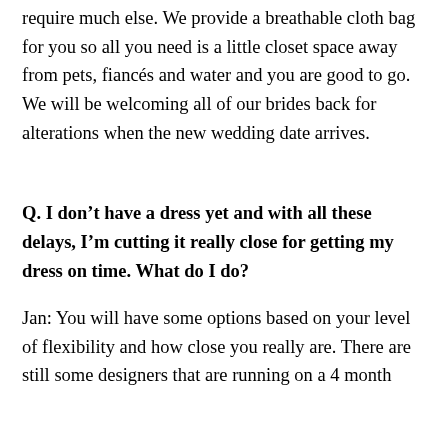require much else.  We provide a breathable cloth bag for you so all you need is a little closet space away from pets, fiancés and water and you are good to go.  We will be welcoming all of our brides back for alterations when the new wedding date arrives.
Q. I don't have a dress yet and with all these delays, I'm cutting it really close for getting my dress on time. What do I do?
Jan: You will have some options based on your level of flexibility and how close you really are.  There are still some designers that are running on a 4 month